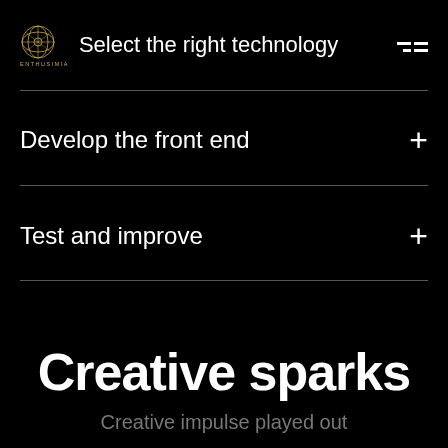Select the right technology
Develop the front end
Test and improve
Creative sparks
Creative impulse played out